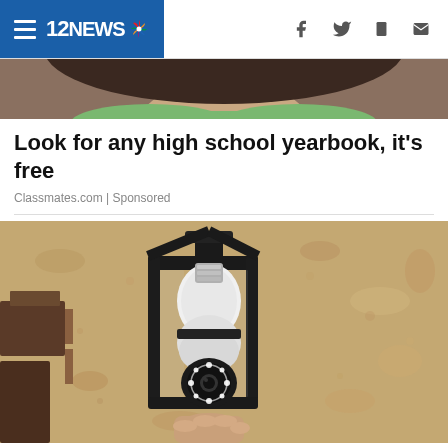12NEWS
[Figure (photo): Partial photo showing bottom of a person's face with dark hair and green shirt, cropped at top of page]
Look for any high school yearbook, it's free
Classmates.com | Sponsored
[Figure (photo): Photo of a security camera shaped like a light bulb, installed in a black lantern-style outdoor wall sconce on a textured stucco wall. A hand is shown holding or installing the device.]
Homeowners Are Trading In Their Doorbell